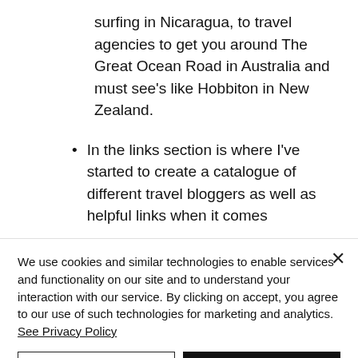surfing in Nicaragua, to travel agencies to get you around The Great Ocean Road in Australia and must see's like Hobbiton in New Zealand.
In the links section is where I've started to create a catalogue of different travel bloggers as well as helpful links when it comes
We use cookies and similar technologies to enable services and functionality on our site and to understand your interaction with our service. By clicking on accept, you agree to our use of such technologies for marketing and analytics. See Privacy Policy
Cookie Settings
Accept